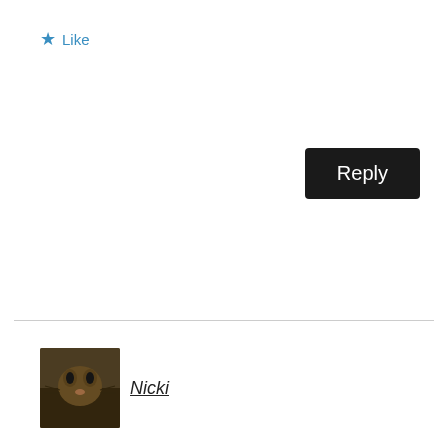Like
[Figure (other): Black Reply button]
[Figure (photo): Avatar photo of a cat]
Nicki
April 12, 2019 at 2:38 am
I probably won't, but thanks for the tip. My goal is to not use anything but water.
Like